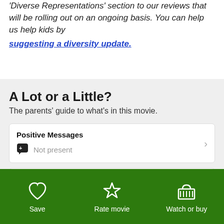'Diverse Representations' section to our reviews that will be rolling out on an ongoing basis. You can help us help kids by suggesting a diversity update.
A Lot or a Little?
The parents' guide to what's in this movie.
Positive Messages
Not present
Positive Role Models
Save | Rate movie | Watch or buy